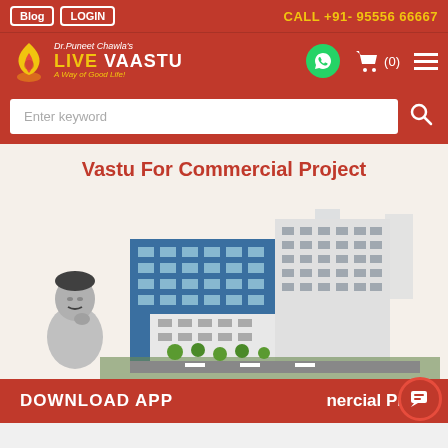Blog | LOGIN | CALL +91- 95556 66667
[Figure (logo): Dr. Puneet Chawla's Live Vaastu logo with flame icon and tagline 'A Way of Good Life!']
Enter keyword
Vastu For Commercial Project
[Figure (illustration): Illustration of commercial multi-story office buildings with a person (Dr. Puneet Chawla) on the left side in grayscale]
DOWNLOAD APP | nercial Project